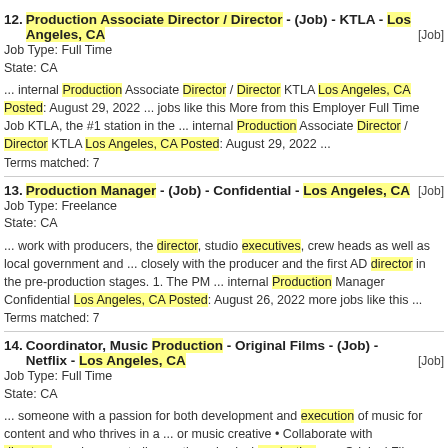12. Production Associate Director / Director - (Job) - KTLA - Los Angeles, CA [Job] Job Type: Full Time State: CA ... internal Production Associate Director / Director KTLA Los Angeles, CA Posted: August 29, 2022 ... jobs like this More from this Employer Full Time Job KTLA, the #1 station in the ... internal Production Associate Director / Director KTLA Los Angeles, CA Posted: August 29, 2022 ... Terms matched: 7
13. Production Manager - (Job) - Confidential - Los Angeles, CA [Job] Job Type: Freelance State: CA ... work with producers, the director, studio executives, crew heads as well as local government and ... closely with the producer and the first AD director in the pre-production stages. 1. The PM ... internal Production Manager Confidential Los Angeles, CA Posted: August 26, 2022 more jobs like this ... Terms matched: 7
14. Coordinator, Music Production - Original Films - (Job) - Netflix - Los Angeles, CA [Job] Job Type: Full Time State: CA ... someone with a passion for both development and execution of music for content and who thrives in a ... or music creative • Collaborate with directors, producers, studio creative, physical production, ... - Original Films